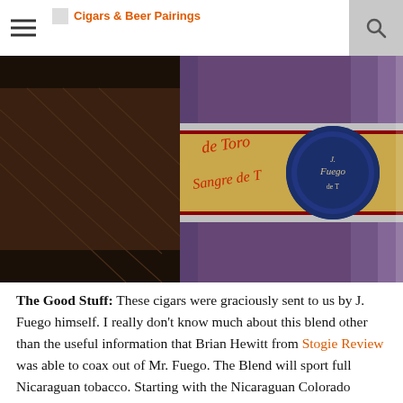Cigars & Beer Pairings
[Figure (photo): Close-up photograph of cigars with decorative band labels reading 'de Toro' and 'Sangre de T' in red script on gold/cream background with blue medallion seal.]
The Good Stuff: These cigars were graciously sent to us by J. Fuego himself. I really don't know much about this blend other than the useful information that Brian Hewitt from Stogie Review was able to coax out of Mr. Fuego. The Blend will sport full Nicaraguan tobacco. Starting with the Nicaraguan Colorado